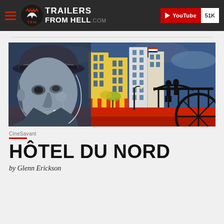TRAILERS FROM HELL .COM | YouTube 51K
[Figure (illustration): Stylized noir movie poster artwork for Hôtel du Nord featuring a man in a fedora hat with a cigarette in the foreground, colorful Parisian buildings in the background, and silhouetted figures on a bridge, done in a graphic novel style with blue, yellow, red and black tones.]
CineSavant
HÔTEL DU NORD
by Glenn Erickson